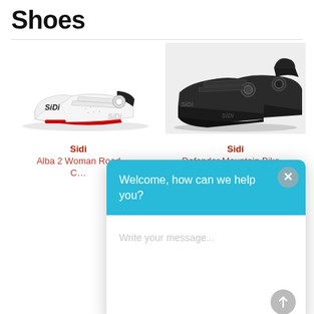Shoes
[Figure (photo): White Sidi road cycling shoe (Alba 2 Woman Road) on white background]
[Figure (photo): Black Sidi mountain bike shoes (Defender Mountain Bike) on grey background]
Sidi
Alba 2 Woman Road
C…
Sidi
Defender Mountain Bike…
[Figure (screenshot): Chat popup overlay with blue header saying 'Welcome, how can we help you?' and input field 'Write your message...' with send button and close button]